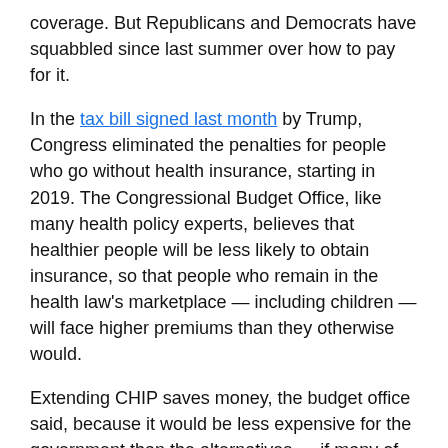coverage. But Republicans and Democrats have squabbled since last summer over how to pay for it.
In the tax bill signed last month by Trump, Congress eliminated the penalties for people who go without health insurance, starting in 2019. The Congressional Budget Office, like many health policy experts, believes that healthier people will be less likely to obtain insurance, so that people who remain in the health law's marketplace — including children — will face higher premiums than they otherwise would.
Extending CHIP saves money, the budget office said, because it would be less expensive for the government than the alternatives — if many of those children enroll in Medicaid or in marketplace coverage subsidized by the government.
The taxes on medical devices, health insurance providers and high-cost employer-sponsored health plans were all imposed by the Affordable Care Act, to help pay for the expansion of coverage under the law. All the would-be-reformers agreed to drop the bill...